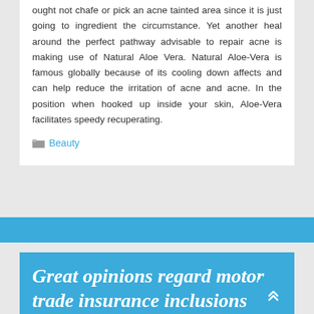ought not chafe or pick an acne tainted area since it is just going to ingredient the circumstance. Yet another heal around the perfect pathway advisable to repair acne is making use of Natural Aloe Vera. Natural Aloe-Vera is famous globally because of its cooling down affects and can help reduce the irritation of acne and acne. In the position when hooked up inside your skin, Aloe-Vera facilitates speedy recuperating.
Beauty
Great opinions regard motor trade insurance inclusions
Alex Dim   April 14, 2019
Most companies within the automobile market fully grasp you